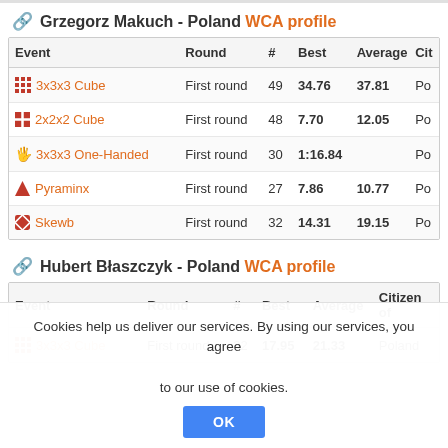Grzegorz Makuch - Poland WCA profile
| Event | Round | # | Best | Average | Cit |
| --- | --- | --- | --- | --- | --- |
| 3x3x3 Cube | First round | 49 | 34.76 | 37.81 | Po |
| 2x2x2 Cube | First round | 48 | 7.70 | 12.05 | Po |
| 3x3x3 One-Handed | First round | 30 | 1:16.84 |  | Po |
| Pyraminx | First round | 27 | 7.86 | 10.77 | Po |
| Skewb | First round | 32 | 14.31 | 19.15 | Po |
Hubert Błaszczyk - Poland WCA profile
| Event | Round | # | Best | Average | Citizen of |
| --- | --- | --- | --- | --- | --- |
| 3x3x3 Cube | First round | 32 | 17.95 | 21.33 | Poland |
Cookies help us deliver our services. By using our services, you agree to our use of cookies.